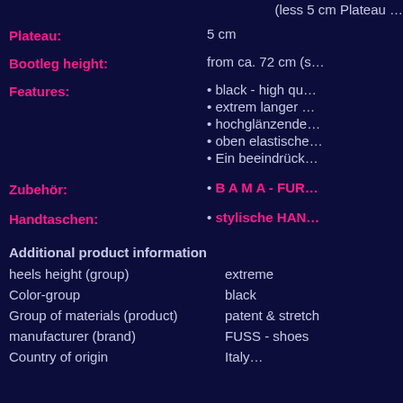(less 5 cm Plateau …
Plateau: 5 cm
Bootleg height: from ca. 72 cm (s…
black - high qu…
extrem langer …
hochglänzende…
oben elastische…
Ein beeindrück…
B A M A - FUR…
stylische HAN…
Additional product information
|  |  |
| --- | --- |
| heels height (group) | extreme |
| Color-group | black |
| Group of materials (product) | patent & stretch |
| manufacturer (brand) | FUSS - shoes |
| Country of origin | Italy… |